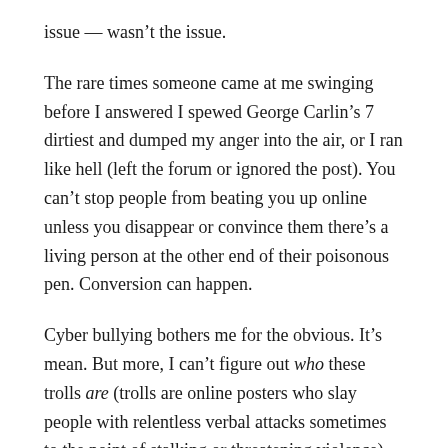issue — wasn't the issue.
The rare times someone came at me swinging before I answered I spewed George Carlin's 7 dirtiest and dumped my anger into the air, or I ran like hell (left the forum or ignored the post). You can't stop people from beating you up online unless you disappear or convince them there's a living person at the other end of their poisonous pen. Conversion can happen.
Cyber bullying bothers me for the obvious. It's mean. But more, I can't figure out who these trolls are (trolls are online posters who slay people with relentless verbal attacks sometimes to the point of stalking or threatening violence).